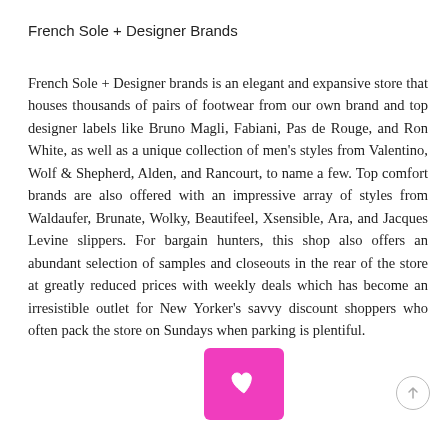French Sole + Designer Brands
French Sole + Designer brands is an elegant and expansive store that houses thousands of pairs of footwear from our own brand and top designer labels like Bruno Magli, Fabiani, Pas de Rouge, and Ron White, as well as a unique collection of men’s styles from Valentino, Wolf & Shepherd, Alden, and Rancourt, to name a few. Top comfort brands are also offered with an impressive array of styles from Waldaufer, Brunate, Wolky, Beautifeel, Xsensible, Ara, and Jacques Levine slippers. For bargain hunters, this shop also offers an abundant selection of samples and closeouts in the rear of the store at greatly reduced prices with weekly deals which has become an irresistible outlet for New Yorker’s savvy discount shoppers who often pack the store on Sundays when parking is plentiful.
[Figure (other): Pink/magenta rounded square button with a white heart icon]